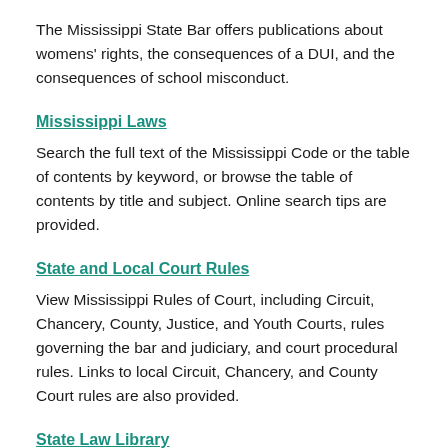The Mississippi State Bar offers publications about womens' rights, the consequences of a DUI, and the consequences of school misconduct.
Mississippi Laws
Search the full text of the Mississippi Code or the table of contents by keyword, or browse the table of contents by title and subject. Online search tips are provided.
State and Local Court Rules
View Mississippi Rules of Court, including Circuit, Chancery, County, Justice, and Youth Courts, rules governing the bar and judiciary, and court procedural rules. Links to local Circuit, Chancery, and County Court rules are also provided.
State Law Library
Search the Mississippi State law library catalog by keyword, title, author, donor, or subject. Links to library